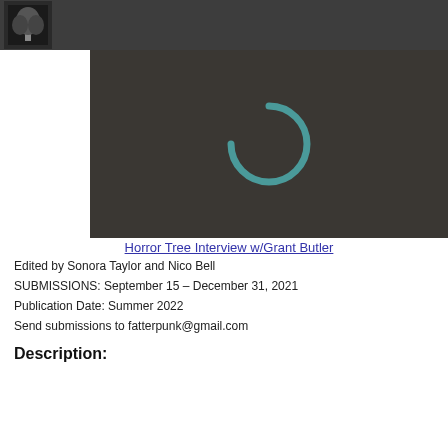Horror Tree
[Figure (screenshot): Dark video player area with a teal loading spinner icon centered on a dark brownish-grey background]
Horror Tree Interview w/Grant Butler
Edited by Sonora Taylor and Nico Bell
SUBMISSIONS: September 15 – December 31, 2021
Publication Date: Summer 2022
Send submissions to fatterpunk@gmail.com
Description: